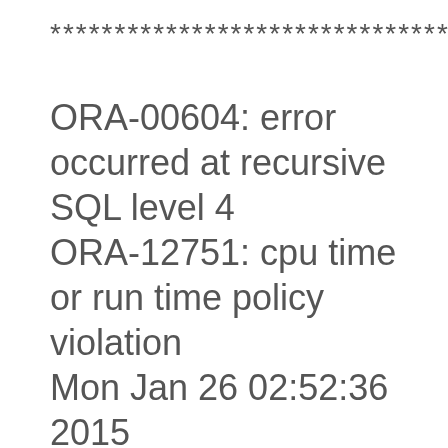********************************
ORA-00604: error occurred at recursive SQL level 4
ORA-12751: cpu time or run time policy violation
Mon Jan 26 02:52:36 2015
Suspending MMON slave action ketbgac2_ for